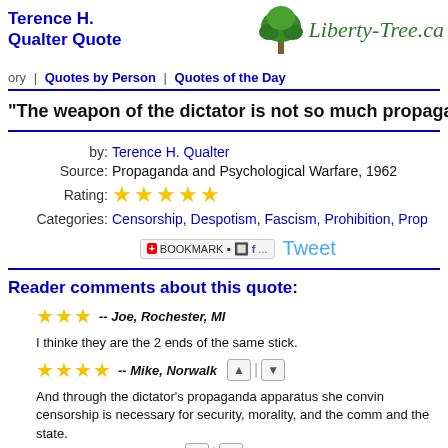Liberty-Tree.ca
Terence H. Qualter Quote
ory | Quotes by Person | Quotes of the Day
"The weapon of the dictator is not so much propaga
by: Terence H. Qualter
Source: Propaganda and Psychological Warfare, 1962
Rating: ★★★★★
Categories: Censorship, Despotism, Fascism, Prohibition, Prop
BOOKMARK | Tweet
Reader comments about this quote:
★★★ -- Joe, Rochester, MI
I thinke they are the 2 ends of the same stick.
★★★★ -- Mike, Norwalk
And through the dictator's propaganda apparatus she convin censorship is necessary for security, morality, and the comm and the state.
 -- JT Ready, Mesa, AZ